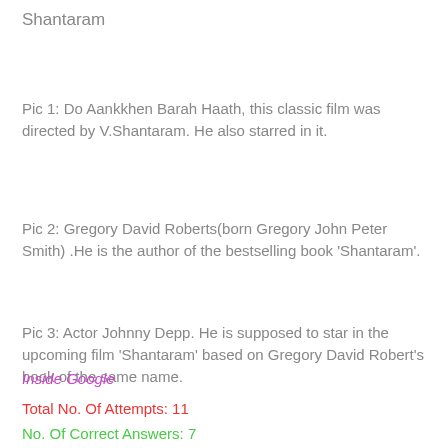Shantaram
Pic 1: Do Aankkhen Barah Haath, this classic film was directed by V.Shantaram. He also starred in it.
Pic 2: Gregory David Roberts(born Gregory John Peter Smith) .He is the author of the bestselling book 'Shantaram'.
Pic 3: Actor Johnny Depp. He is supposed to star in the upcoming film 'Shantaram' based on Gregory David Robert's book of the same name.
Inside Google
Total No. Of Attempts: 11
No. Of Correct Answers: 7
List Of Correct Answer Givers
Sumant S ( 2 points, 0 hours :10 minutes)